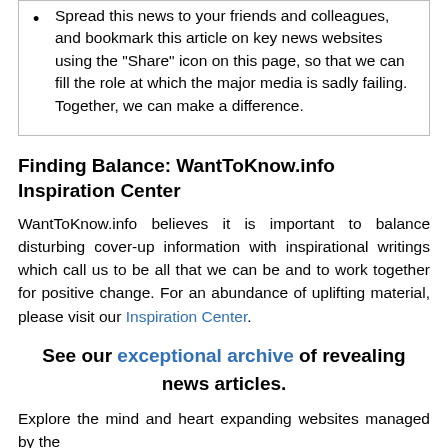Spread this news to your friends and colleagues, and bookmark this article on key news websites using the "Share" icon on this page, so that we can fill the role at which the major media is sadly failing. Together, we can make a difference.
Finding Balance: WantToKnow.info Inspiration Center
WantToKnow.info believes it is important to balance disturbing cover-up information with inspirational writings which call us to be all that we can be and to work together for positive change. For an abundance of uplifting material, please visit our Inspiration Center.
See our exceptional archive of revealing news articles.
Explore the mind and heart expanding websites managed by the